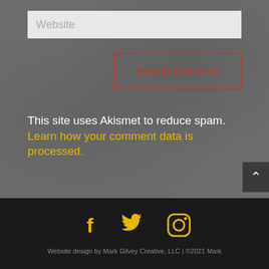[Figure (screenshot): Website comment form input field with placeholder text 'Website' on light gray background]
[Figure (screenshot): Submit Comment button with red border outline on dark gray background]
This site uses Akismet to reduce spam. Learn how your comment data is processed.
[Figure (infographic): Social media icons for Facebook, Twitter, and Instagram in yellow/gold color on dark background]
Website design by Mark Gilvey Creative, LLC | ©2021 Mark